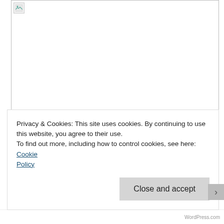[Figure (photo): Broken/unloaded image placeholder with a small broken image icon in the top-left corner. White background with gray border.]
“Yutori desuga nanika?” is here to tell us “you freaking brat! Stop complaining! It’s okay to fear failure, your 20s are the base of your
Privacy & Cookies: This site uses cookies. By continuing to use this website, you agree to their use.
To find out more, including how to control cookies, see here: Cookie Policy
Close and accept